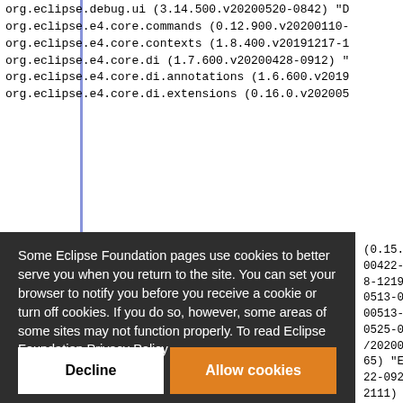org.eclipse.debug.ui (3.14.500.v20200520-0842) "D
org.eclipse.e4.core.commands (0.12.900.v20200110-
org.eclipse.e4.core.contexts (1.8.400.v20191217-1
org.eclipse.e4.core.di (1.7.600.v20200428-0912) "
org.eclipse.e4.core.di.annotations (1.6.600.v2019
org.eclipse.e4.core.di.extensions (0.16.0.v202005
[Figure (screenshot): Cookie consent overlay on Eclipse Foundation website with dark background, showing privacy notice text, a 'click here.' link, and two buttons: 'Decline' (white) and 'Allow cookies' (orange).]
org.eclipse.e4.ui.workbench3 (0.15.400.v20191216-